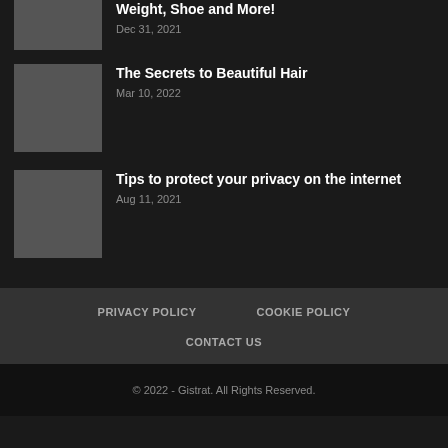Weight, Shoe and More!
Dec 31, 2021
The Secrets to Beautiful Hair
Mar 10, 2022
Tips to protect your privacy on the internet
Aug 11, 2021
PRIVACY POLICY   COOKIE POLICY   CONTACT US
© 2022 - Gistrat. All Rights Reserved.